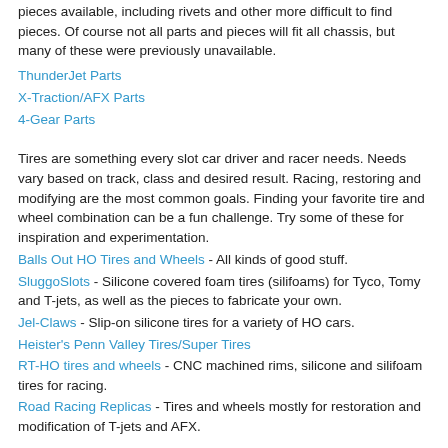pieces available, including rivets and other more difficult to find pieces. Of course not all parts and pieces will fit all chassis, but many of these were previously unavailable.
ThunderJet Parts
X-Traction/AFX Parts
4-Gear Parts
Tires are something every slot car driver and racer needs. Needs vary based on track, class and desired result. Racing, restoring and modifying are the most common goals. Finding your favorite tire and wheel combination can be a fun challenge. Try some of these for inspiration and experimentation.
Balls Out HO Tires and Wheels - All kinds of good stuff.
SluggoSlots - Silicone covered foam tires (silifoams) for Tyco, Tomy and T-jets, as well as the pieces to fabricate your own.
Jel-Claws - Slip-on silicone tires for a variety of HO cars.
Heister's Penn Valley Tires/Super Tires
RT-HO tires and wheels - CNC machined rims, silicone and silifoam tires for racing.
Road Racing Replicas - Tires and wheels mostly for restoration and modification of T-jets and AFX.